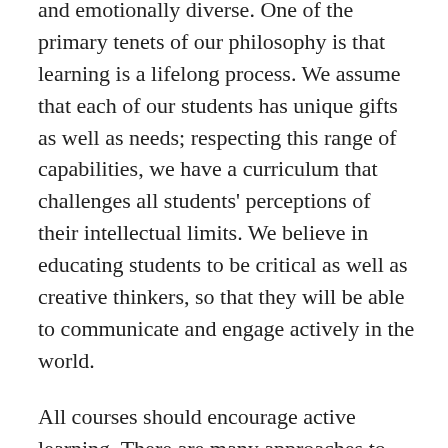and emotionally diverse. One of the primary tenets of our philosophy is that learning is a lifelong process. We assume that each of our students has unique gifts as well as needs; respecting this range of capabilities, we have a curriculum that challenges all students' perceptions of their intellectual limits. We believe in educating students to be critical as well as creative thinkers, so that they will be able to communicate and engage actively in the world.
All courses should encourage active learning. There are many approaches to the study of literature; students should experience a number of them during their four years. Students should study literature to learn about their own cultural traditions, other cultural traditions, human attitudes, psychology, spiritual issues, values and ethics, aesthetics, and methods of criticism and